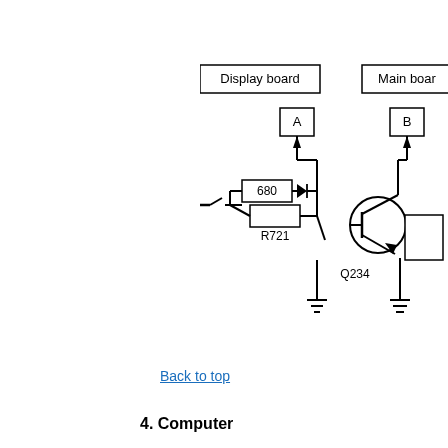[Figure (circuit-diagram): Partial circuit diagram showing Display board connector (A) with resistor 680, diode, and resistor R721 on the left side, and Main board connector (B) with transistor Q234 on the right side. The diagram is cut off at the right edge.]
Back to top
4. Computer